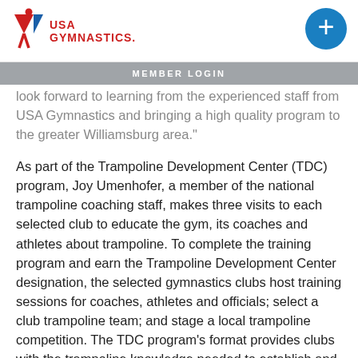USA GYMNASTICS
MEMBER LOGIN
look forward to learning from the experienced staff from USA Gymnastics and bringing a high quality program to the greater Williamsburg area."
As part of the Trampoline Development Center (TDC) program, Joy Umenhofer, a member of the national trampoline coaching staff, makes three visits to each selected club to educate the gym, its coaches and athletes about trampoline. To complete the training program and earn the Trampoline Development Center designation, the selected gymnastics clubs host training sessions for coaches, athletes and officials; select a club trampoline team; and stage a local trampoline competition. The TDC program’s format provides clubs with the trampoline knowledge needed to establish and their programs by the conclusion of the third visit. All four of the TDC clubs from 2013 have entered athletes in competition and are hosting their own meet this spring.
When Umenhofer makes her three visits to the TDC clubs, she hosts clinics to educate club staff on scheduling, coaching and teaching trampoline, basic skills, conditioning and flexibility